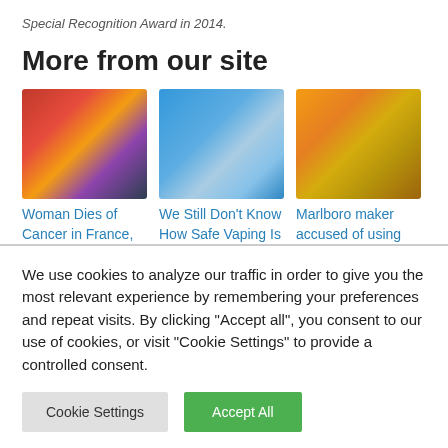Special Recognition Award in 2014.
More from our site
[Figure (photo): Three thumbnail images: a medical/surgical scene, a blue abstract wave background, and golden wheat/grain stalks]
Woman Dies of Cancer in France,
We Still Don't Know How Safe Vaping Is
Marlboro maker accused of using
We use cookies to analyze our traffic in order to give you the most relevant experience by remembering your preferences and repeat visits. By clicking "Accept all", you consent to our use of cookies, or visit "Cookie Settings" to provide a controlled consent.